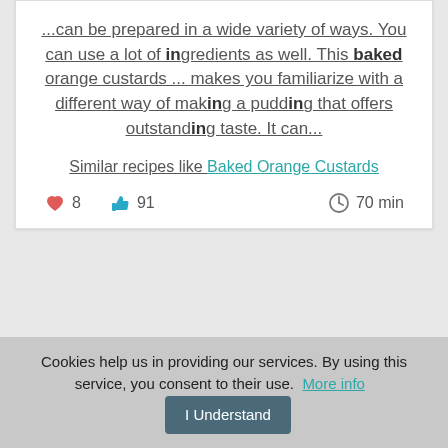...can be prepared in a wide variety of ways. You can use a lot of ingredients as well. This baked orange custards ... makes you familiarize with a different way of making a pudding that offers outstanding taste. It can...
Similar recipes like Baked Orange Custards
❤ 8  👍 91  🕐 70 min
Cookies help us in providing our services. By using this service, you consent to their use. More info | I Understand